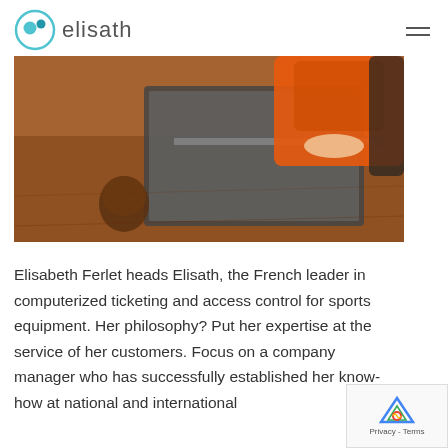elisath
[Figure (photo): Person in orange jacket working on a laptop at a wooden desk, cropped to show hands and laptop.]
Elisabeth Ferlet heads Elisath, the French leader in computerized ticketing and access control for sports equipment. Her philosophy? Put her expertise at the service of her customers. Focus on a company manager who has successfully established her know-how at national and international